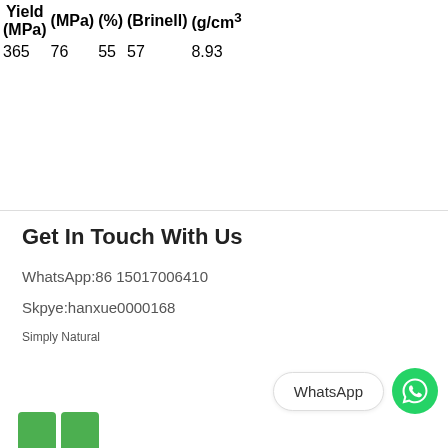| Yield
(MPa) | (MPa) | (%) | (Brinell) | (g/cm³ |
| --- | --- | --- | --- | --- |
| 365 | 76 | 55 | 57 | 8.93 |
Get In Touch With Us
WhatsApp:86 15017006410
Skpye:hanxue0000168
Simply Natural
WhatsApp